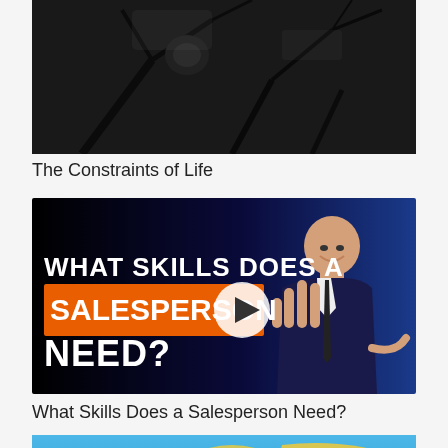[Figure (photo): Black and white photograph showing what appears to be a person or figure among tree branches]
The Constraints of Life
[Figure (screenshot): Video thumbnail with dark background showing a bald man in a suit pointing at text that reads 'WHAT SKILLS DOES A SALESPERSON NEED?' with an orange highlight bar and a play button overlay]
What Skills Does a Salesperson Need?
[Figure (photo): Partial view of a colorful world map image with yellow and blue colors]